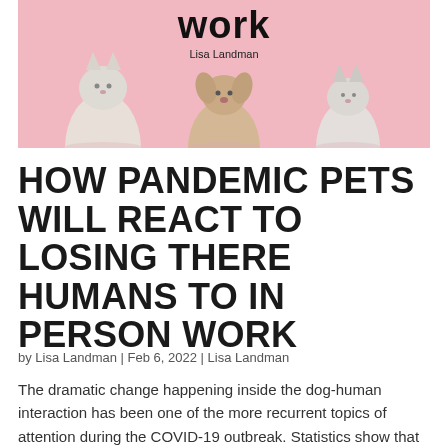[Figure (photo): Book cover photo showing cats and a dog on a pink background with partial title text 'work' and author name 'Lisa Landman']
HOW PANDEMIC PETS WILL REACT TO LOSING THERE HUMANS TO IN PERSON WORK
by Lisa Landman | Feb 6, 2022 | Lisa Landman
The dramatic change happening inside the dog-human interaction has been one of the more recurrent topics of attention during the COVID-19 outbreak. Statistics show that over the last year and a half, dogs have been adopted in unprecedented numbers.  Dog